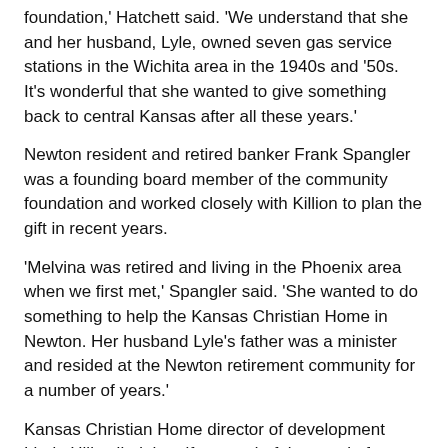foundation,' Hatchett said. 'We understand that she and her husband, Lyle, owned seven gas service stations in the Wichita area in the 1940s and '50s. It's wonderful that she wanted to give something back to central Kansas after all these years.'
Newton resident and retired banker Frank Spangler was a founding board member of the community foundation and worked closely with Killion to plan the gift in recent years.
'Melvina was retired and living in the Phoenix area when we first met,' Spangler said. 'She wanted to do something to help the Kansas Christian Home in Newton. Her husband Lyle's father was a minister and resided at the Newton retirement community for a number of years.'
Kansas Christian Home director of development Linda Hill called the gift a wonderful example for others. 'Mrs. Killion was a gracious philanthropist throughout her lifetime,' Hill said. 'This gift is a blessing for many of our residents who will directly benefit from her generosity for years to come.'
According to lifelong friends of the Killions, they retired and left Wichita to move to Colorado in the late 1960s, later